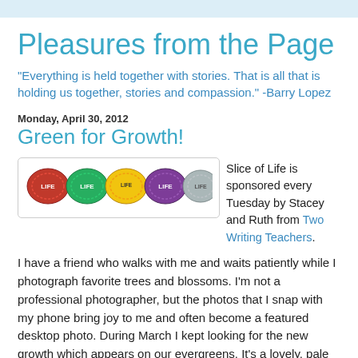Pleasures from the Page
"Everything is held together with stories. That is all that is holding us together, stories and compassion." -Barry Lopez
Monday, April 30, 2012
Green for Growth!
[Figure (illustration): Five oval badge stickers in a row: red (LIFE), green (LIFE), gold/yellow (LIFE), purple (LIFE), gray (LIFE) — Slice of Life badges]
Slice of Life is sponsored every Tuesday by Stacey and Ruth from Two Writing Teachers.
I have a friend who walks with me and waits patiently while I photograph favorite trees and blossoms.  I'm not a professional photographer, but the photos that I snap with my phone bring joy to me and often become a featured desktop photo.   During March I kept looking for the new growth which appears on our evergreens.  It's a lovely, pale shade of green and so soft to the touch.   When I see it, I'm